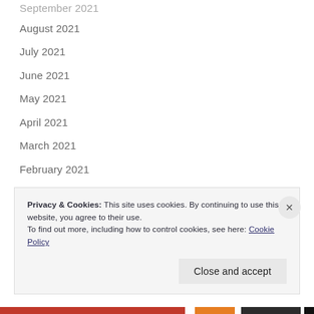September 2021
August 2021
July 2021
June 2021
May 2021
April 2021
March 2021
February 2021
January 2021
December 2020
November 2020
October 2020
Privacy & Cookies: This site uses cookies. By continuing to use this website, you agree to their use.
To find out more, including how to control cookies, see here: Cookie Policy